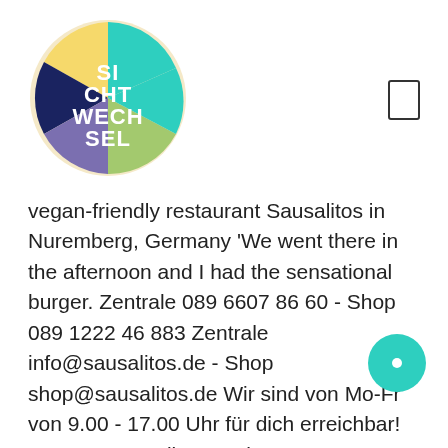[Figure (logo): Sichtwechsel circular logo with colorful segments (yellow, teal, dark blue, purple, green) containing white text: SI CHT WECH SEL]
vegan-friendly restaurant Sausalitos in Nuremberg, Germany 'We went there in the afternoon and I had the sensational burger. Zentrale 089 6607 86 60 - Shop 089 1222 46 883 Zentrale info@sausalitos.de - Shop shop@sausalitos.de Wir sind von Mo-Fr von 9.00 - 17.00 Uhr für dich erreichbar! Prenota Sausalitos, Amburgo su Tripadvisor: trovi 23 recensioni imparziali su Sausalitos, con punteggio 3 su 5 e al n.2.388 su 3.640 ristoranti a Amburgo. An unserem Foodmonday gibt es den ge Tag ausgewählte Speisen zum halben Preis. The food was great as always and the coctails were also very good. We